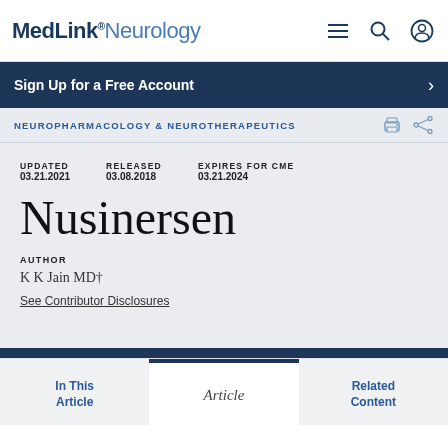MedLink® Neurology
Sign Up for a Free Account
NEUROPHARMACOLOGY & NEUROTHERAPEUTICS
UPDATED 03.21.2021   RELEASED 03.08.2018   EXPIRES FOR CME 03.21.2024
Nusinersen
AUTHOR
K K Jain MD†
See Contributor Disclosures
In This Article   Article   Related Content